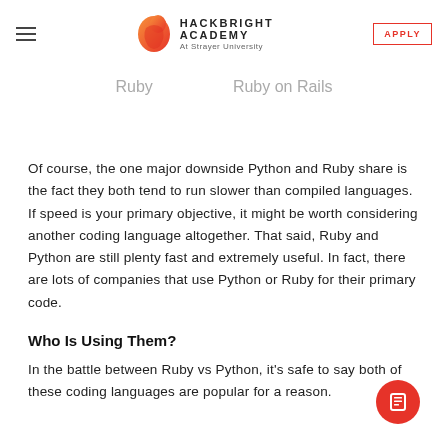Hackbright Academy At Strayer University | APPLY
Ruby
Ruby on Rails
Of course, the one major downside Python and Ruby share is the fact they both tend to run slower than compiled languages. If speed is your primary objective, it might be worth considering another coding language altogether. That said, Ruby and Python are still plenty fast and extremely useful. In fact, there are lots of companies that use Python or Ruby for their primary code.
Who Is Using Them?
In the battle between Ruby vs Python, it's safe to say both of these coding languages are popular for a reason.